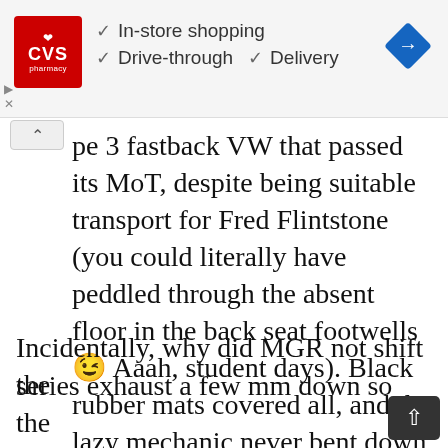[Figure (screenshot): CVS Pharmacy ad banner with logo, checkmark items: In-store shopping, Drive-through, Delivery, and a blue navigation diamond icon]
pe 3 fastback VW that passed its MoT, despite being suitable transport for Fred Flintstone (you could literally have peddled through the absent floor in the back seat footwells 😉 Aaah, student days). Black rubber mats covered all, and the lazy mechanic never bent down to look under, or put it on a lift.
Incidentally, why did MGR not shift the series exhaust a few mm down so the